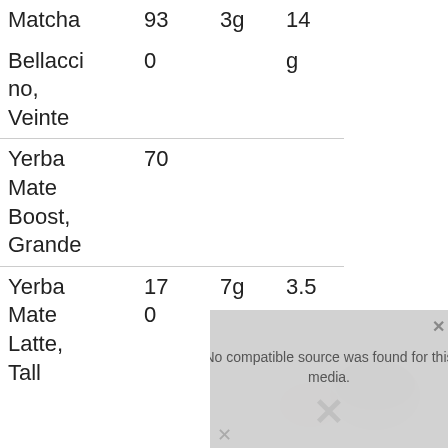| Item | Caffeine | Sugar | Fiber |
| --- | --- | --- | --- |
| Matcha | 93 | 3g | 14g |
| Bellaccino, Veinte | 0 |  | g |
| Yerba Mate Boost, Grande | 70 |  |  |
| Yerba Mate Latte, Tall | 170 | 7g | 3.5g |
[Figure (screenshot): Media player error overlay reading 'No compatible source was found for this media.' with an X close button and X dismiss mark, overlaid on a faded food photo]